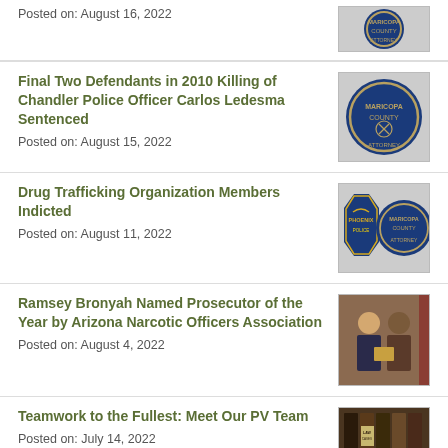Posted on: August 16, 2022
Final Two Defendants in 2010 Killing of Chandler Police Officer Carlos Ledesma Sentenced
Posted on: August 15, 2022
[Figure (logo): Maricopa County Attorney seal/badge logo]
Drug Trafficking Organization Members Indicted
Posted on: August 11, 2022
[Figure (logo): Two badges: Phoenix police badge and Maricopa County Attorney seal]
Ramsey Bronyah Named Prosecutor of the Year by Arizona Narcotic Officers Association
Posted on: August 4, 2022
[Figure (photo): Two men in suits holding an award, Arizona flag in background]
Teamwork to the Fullest: Meet Our PV Team
Posted on: July 14, 2022
[Figure (photo): Law case books on a shelf]